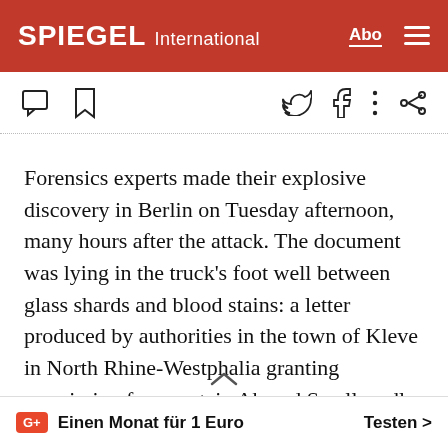SPIEGEL International
[Figure (screenshot): Toolbar with comment, bookmark, Twitter, Facebook, and share icons]
Forensics experts made their explosive discovery in Berlin on Tuesday afternoon, many hours after the attack. The document was lying in the truck's foot well between glass shards and blood stains: a letter produced by authorities in the town of Kleve in North Rhine-Westphalia granting permission for a certain Ahmad S., allegedly born in 1995 in Tunisia, to temporarily remain in Germany. It soon became clear
Einen Monat für 1 Euro   Testen >